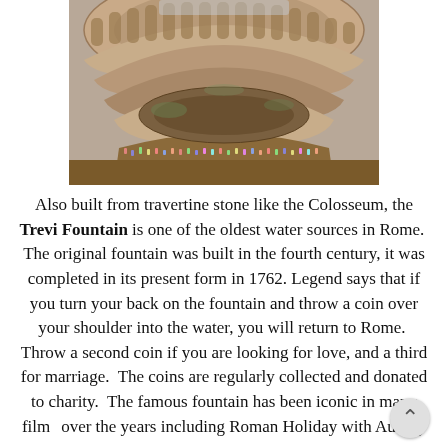[Figure (photo): Aerial interior view of the Colosseum in Rome, showing the elliptical arena floor, tiered arches, and tourists at the base.]
Also built from travertine stone like the Colosseum, the Trevi Fountain is one of the oldest water sources in Rome.  The original fountain was built in the fourth century, it was completed in its present form in 1762.  Legend says that if you turn your back on the fountain and throw a coin over your shoulder into the water, you will return to Rome.  Throw a second coin if you are looking for love, and a third for marriage.  The coins are regularly collected and donated to charity.  The famous fountain has been iconic in many films over the years including Roman Holiday with Audrey